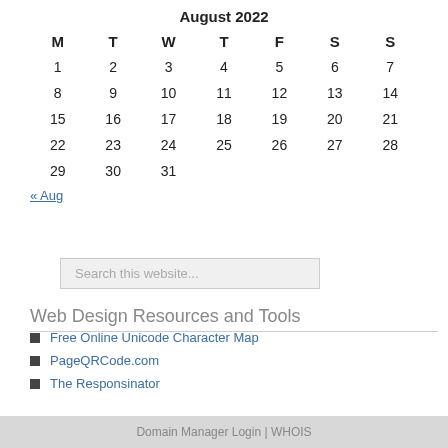| M | T | W | T | F | S | S |
| --- | --- | --- | --- | --- | --- | --- |
| 1 | 2 | 3 | 4 | 5 | 6 | 7 |
| 8 | 9 | 10 | 11 | 12 | 13 | 14 |
| 15 | 16 | 17 | 18 | 19 | 20 | 21 |
| 22 | 23 | 24 | 25 | 26 | 27 | 28 |
| 29 | 30 | 31 |  |  |  |  |
« Aug
Search this website...
Web Design Resources and Tools
Free Online Unicode Character Map
PageQRCode.com
The Responsinator
Domain Manager Login | WHOIS